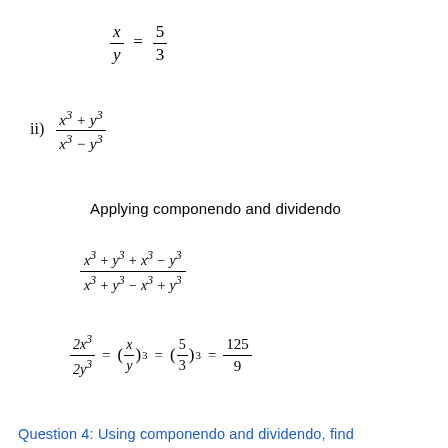Applying componendo and dividendo
Question 4: Using componendo and dividendo, find